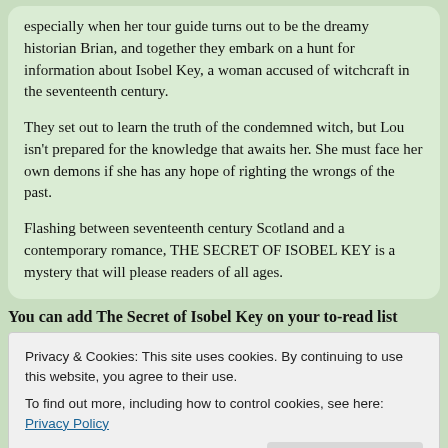especially when her tour guide turns out to be the dreamy historian Brian, and together they embark on a hunt for information about Isobel Key, a woman accused of witchcraft in the seventeenth century.

They set out to learn the truth of the condemned witch, but Lou isn't prepared for the knowledge that awaits her. She must face her own demons if she has any hope of righting the wrongs of the past.

Flashing between seventeenth century Scotland and a contemporary romance, THE SECRET OF ISOBEL KEY is a mystery that will please readers of all ages.
You can add The Secret of Isobel Key on your to-read list
Privacy & Cookies: This site uses cookies. By continuing to use this website, you agree to their use.
To find out more, including how to control cookies, see here: Privacy Policy
Close and accept
– Google